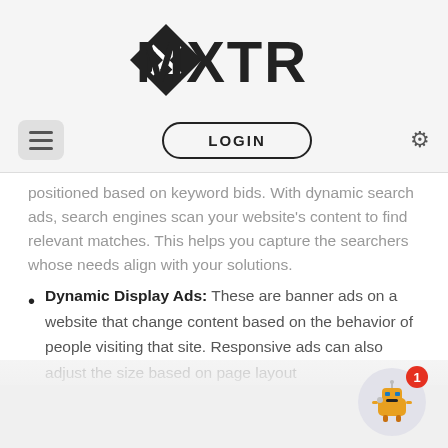[Figure (logo): MXTR logo with diamond/arrow icon on left and stylized MXTR text on right]
LOGIN navigation bar with hamburger menu, LOGIN button, and gear settings icon
positioned based on keyword bids. With dynamic search ads, search engines scan your website's content to find relevant matches. This helps you capture the searchers whose needs align with your solutions.
Dynamic Display Ads: These are banner ads on a website that change content based on the behavior of people visiting that site. Responsive ads can also adjust the size based on page layout